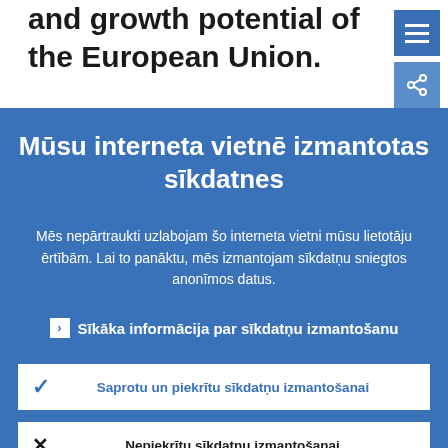and growth potential of the European Union.
In 2013 the ECB published a study...
Mūsu interneta vietnē izmantotas sīkdatnes
Mēs nepārtraukti uzlabojam šo interneta vietni mūsu lietotāju ērtībām. Lai to panāktu, mēs izmantojam sīkdatņu sniegtos anonīmos datus.
› Sīkāka informācija par sīkdatņu izmantošanu
Saprotu un piekrītu sīkdatņu izmantošanai
Nepiekrītu sīkdatņu izmantošanai